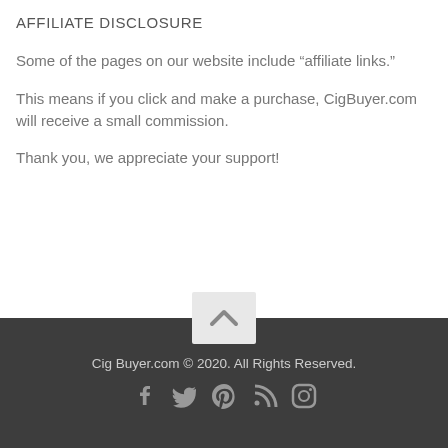AFFILIATE DISCLOSURE
Some of the pages on our website include “affiliate links.”
This means if you click and make a purchase, CigBuyer.com will receive a small commission.
Thank you, we appreciate your support!
Cig Buyer.com © 2020. All Rights Reserved.